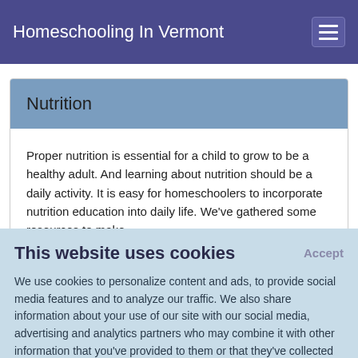Homeschooling In Vermont
Nutrition
Proper nutrition is essential for a child to grow to be a healthy adult. And learning about nutrition should be a daily activity. It is easy for homeschoolers to incorporate nutrition education into daily life. We've gathered some resources to make
This website uses cookies
We use cookies to personalize content and ads, to provide social media features and to analyze our traffic. We also share information about your use of our site with our social media, advertising and analytics partners who may combine it with other information that you've provided to them or that they've collected from your use of their services.
Learn More.